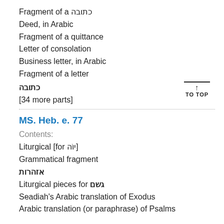Fragment of a כתובה
Deed, in Arabic
Fragment of a quittance
Letter of consolation
Business letter, in Arabic
Fragment of a letter
כתובה
[34 more parts]
MS. Heb. e. 77
Contents:
Liturgical [for יוֹה]
Grammatical fragment
אזהרות
Liturgical pieces for גשם
Seadiah's Arabic translation of Exodus
Arabic translation (or paraphrase) of Psalms